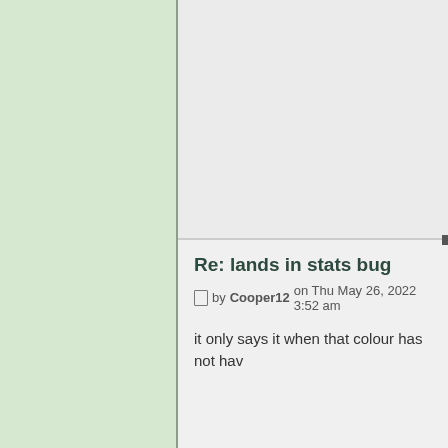Re: lands in stats bug
by Cooper12 on Thu May 26, 2022 3:52 am
it only says it when that colour has not hav